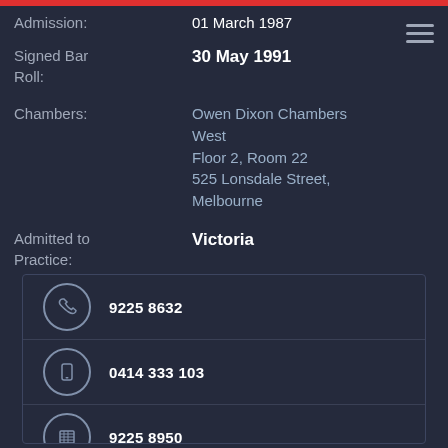| Admission: | 01 March 1987 |
| Signed Bar Roll: | 30 May 1991 |
| Chambers: | Owen Dixon Chambers West
Floor 2, Room 22
525 Lonsdale Street, Melbourne |
| Admitted to Practice: | Victoria |
9225 8632
0414 333 103
9225 8950
g_berkovitch@bigpond.com